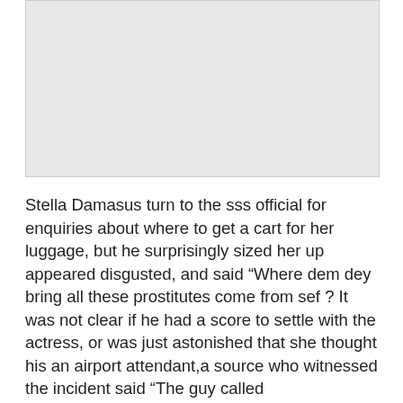[Figure (photo): A large grey placeholder image block occupying the upper portion of the page.]
Stella Damasus turn to the sss official for enquiries about where to get a cart for her luggage, but he surprisingly sized her up appeared disgusted, and said “Where dem dey bring all these prostitutes come from sef ? It was not clear if he had a score to settle with the actress, or was just astonished that she thought his an airport attendant,a source who witnessed the incident said “The guy called